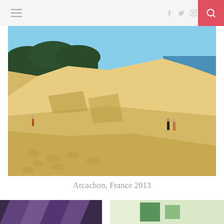Navigation header with hamburger menu, social icons (Facebook, Twitter, Instagram, Pinterest, Tumblr), and search button
[Figure (photo): Large sand dune landscape at Arcachon, France. A massive golden sand dune rises against a clear blue sky, with dark green pine forest on the left and the blue ocean visible on the right. Two people walk up the dune in the distance, and footprints mark the sand in the foreground.]
Arcachon, France 2013
[Figure (photo): Bottom left partial photo showing colorful abstract shapes in purple/dark tones]
[Figure (photo): Bottom right partial photo showing light green/white tones with a green rectangular element]